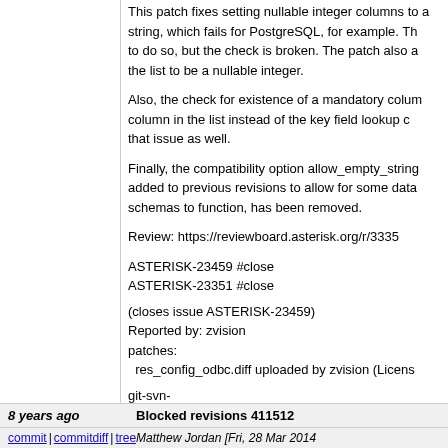This patch fixes setting nullable integer columns to a string, which fails for PostgreSQL, for example. The patch tries to do so, but the check is broken. The patch also adds a column in the list to be a nullable integer.

Also, the check for existence of a mandatory column uses the column in the list instead of the key field lookup column. The patch fixes that issue as well.

Finally, the compatibility option allow_empty_string, which was added to previous revisions to allow for some database-specific schemas to function, has been removed.

Review: https://reviewboard.asterisk.org/r/3335

ASTERISK-23459 #close
ASTERISK-23351 #close

(closes issue ASTERISK-23459)
Reported by: zvision
patches:
  res_config_odbc.diff uploaded by zvision (Licens...

git-svn-id: https://origsvn.digium.com/svn/asterisk/trunk@... 6c06-0410-ace0-fbb531ad65f3
8 years ago
Blocked revisions 411512
commit | commitdiff | tree
Matthew Jordan [Fri, 28 Mar 2014